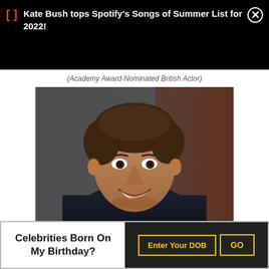[ ]  Kate Bush tops Spotify's Songs of Summer List for 2022!
(Academy Award-Nominated British Actor)
[Figure (photo): A smiling man with short brown hair wearing a dark blazer, photographed in what appears to be a television studio setting.]
Celebrities Born On My Birthday?  Enter Your DOB  GO